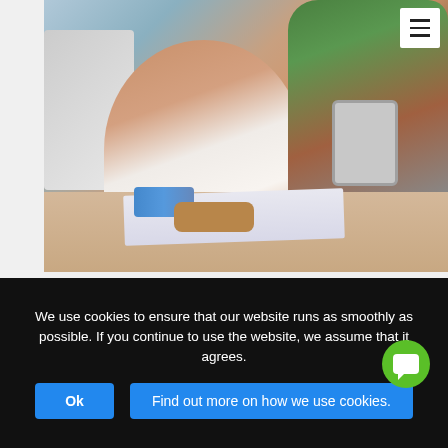[Figure (photo): Two office workers looking at a tablet together over a desk with papers, a monitor, blue items and a wooden tray. One person wears a white top, the other wears a green shirt.]
> Check out our guide
We use cookies to ensure that our website runs as smoothly as possible. If you continue to use the website, we assume that it agrees. Ok Find out more on how we use cookies.